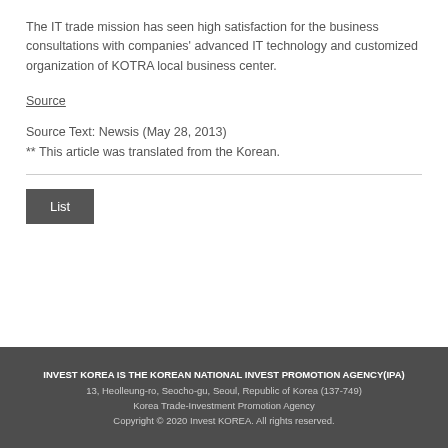The IT trade mission has seen high satisfaction for the business consultations with companies' advanced IT technology and customized organization of KOTRA local business center.
Source
Source Text: Newsis (May 28, 2013)
** This article was translated from the Korean.
List
INVEST KOREA IS THE KOREAN NATIONAL INVEST PROMOTION AGENCY(IPA)
13, Heolleung-ro, Seocho-gu, Seoul, Republic of Korea (137-749)
Korea Trade-Investment Promotion Agency
Copyright © 2020 Invest KOREA. All rights reserved.